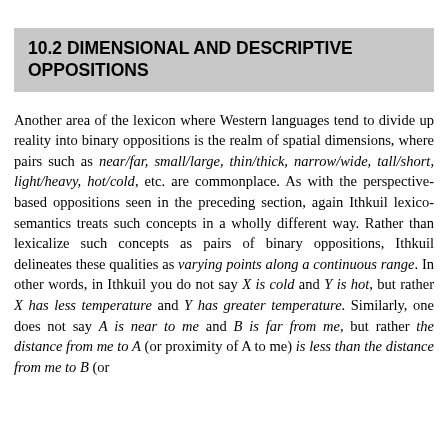10.2 DIMENSIONAL AND DESCRIPTIVE OPPOSITIONS
Another area of the lexicon where Western languages tend to divide up reality into binary oppositions is the realm of spatial dimensions, where pairs such as near/far, small/large, thin/thick, narrow/wide, tall/short, light/heavy, hot/cold, etc. are commonplace. As with the perspective-based oppositions seen in the preceding section, again Ithkuil lexico-semantics treats such concepts in a wholly different way. Rather than lexicalize such concepts as pairs of binary oppositions, Ithkuil delineates these qualities as varying points along a continuous range. In other words, in Ithkuil you do not say X is cold and Y is hot, but rather X has less temperature and Y has greater temperature. Similarly, one does not say A is near to me and B is far from me, but rather the distance from me to A (or proximity of A to me) is less than the distance from me to B (or